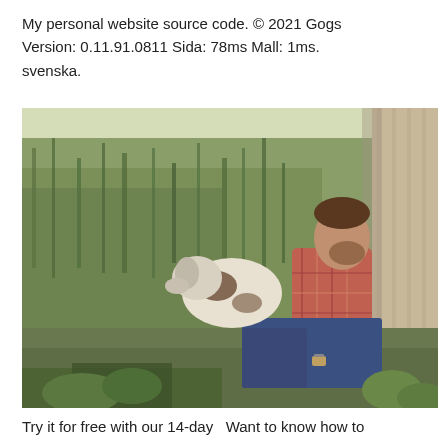My personal website source code. © 2021 Gogs Version: 0.11.91.0811 Sida: 78ms Mall: 1ms. svenska.
[Figure (photo): A man sitting in tall green grass against a weathered wooden wall, with a dog beside him. The man wears a plaid shirt and jeans and has a watch on his wrist.]
Try it for free with our 14-day  Want to know how to